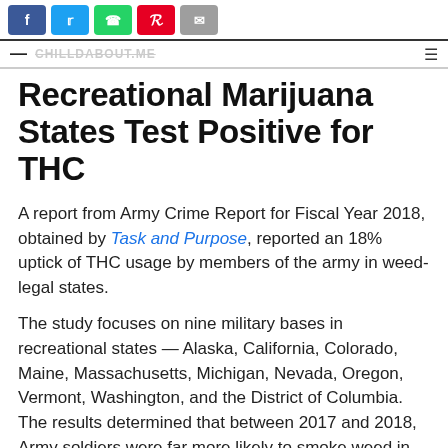Social share bar: Facebook, Twitter, WhatsApp, Pinterest, Email
Recreational Marijuana States Test Positive for THC
A report from Army Crime Report for Fiscal Year 2018, obtained by Task and Purpose, reported an 18% uptick of THC usage by members of the army in weed-legal states.
The study focuses on nine military bases in recreational states — Alaska, California, Colorado, Maine, Massachusetts, Michigan, Nevada, Oregon, Vermont, Washington, and the District of Columbia. The results determined that between 2017 and 2018, Army soldiers were far more likely to smoke weed in decriminalized states.